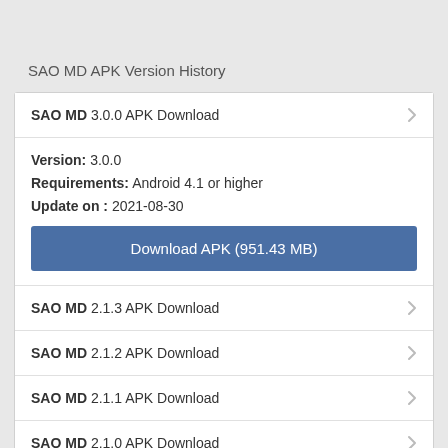SAO MD APK Version History
SAO MD 3.0.0 APK Download
Version: 3.0.0
Requirements: Android 4.1 or higher
Update on : 2021-08-30
Download APK (951.43 MB)
SAO MD 2.1.3 APK Download
SAO MD 2.1.2 APK Download
SAO MD 2.1.1 APK Download
SAO MD 2.1.0 APK Download
SAO MD 2.0.1 APK Download
SAO MD 2.0.0 APK Download